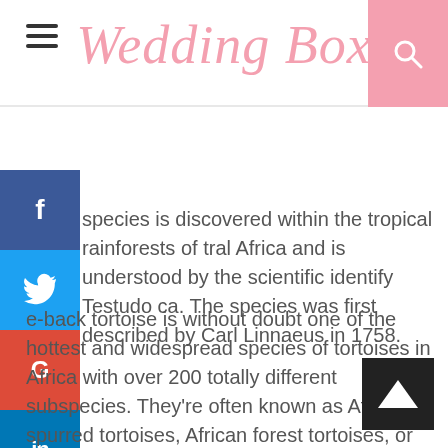Wedding Box
species is discovered within the tropical rainforests of tral Africa and is understood by the scientific identify Testudo ca. The species was first described by Carl Linnaeus in 1758.
e-back tortoise is without doubt one of the hottest and widespread species of tortoises in Africa with over 200 totally different subspecies. They’re often known as African spurred tortoises, African forest tortoises, or European spurred tortoises as a consequence of their look.